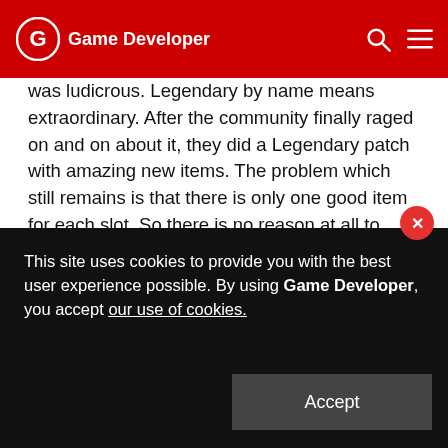Game Developer
was ludicrous. Legendary by name means extraordinary. After the community finally raged on and on about it, they did a Legendary patch with amazing new items. The problem which still remains is that there is only one good item for each slot. So there is no reason at all to even try anything new.
The reason for that is the linear design of skills and items. It makes the game much easier to play, but then it also makes it that much more boring as there is no choice is what I want to buy / wear.
E.g. For Barbarian, once I got the Immortal Kings Chest Armor, there is no other armor that is worth it. Similarly for the Ice Climber Boots, Memno Helm and Echoing Fury Mace.
This site uses cookies to provide you with the best user experience possible. By using Game Developer, you accept our use of cookies.